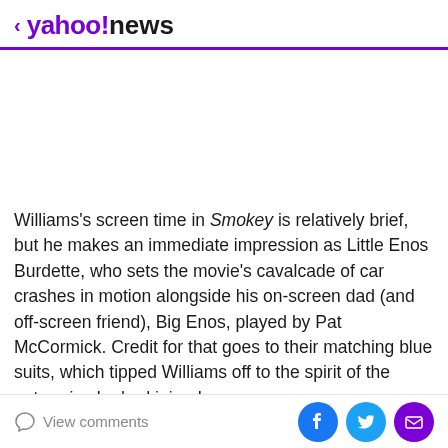< yahoo!news
[Figure (other): Blank white advertisement/image area]
Williams's screen time in Smokey is relatively brief, but he makes an immediate impression as Little Enos Burdette, who sets the movie's cavalcade of car crashes in motion alongside his on-screen dad (and off-screen friend), Big Enos, played by Pat McCormick. Credit for that goes to their matching blue suits, which tipped Williams off to the spirit of the enterprise he had joined.
View comments